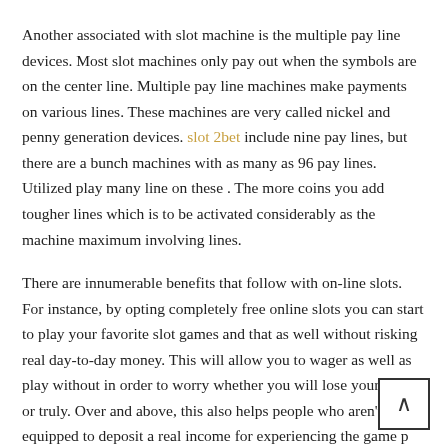Another associated with slot machine is the multiple pay line devices. Most slot machines only pay out when the symbols are on the center line. Multiple pay line machines make payments on various lines. These machines are very called nickel and penny generation devices. slot 2bet include nine pay lines, but there are a bunch machines with as many as 96 pay lines. Utilized play many line on these . The more coins you add tougher lines which is to be activated considerably as the machine maximum involving lines.
There are innumerable benefits that follow with on-line slots. For instance, by opting completely free online slots you can start to play your favorite slot games and that as well without risking real day-to-day money. This will allow you to wager as well as play without in order to worry whether you will lose your money or truly. Over and above, this also helps people who aren't equipped to deposit a real income for experiencing the game p irrespective among the location. Many go in for the free online super